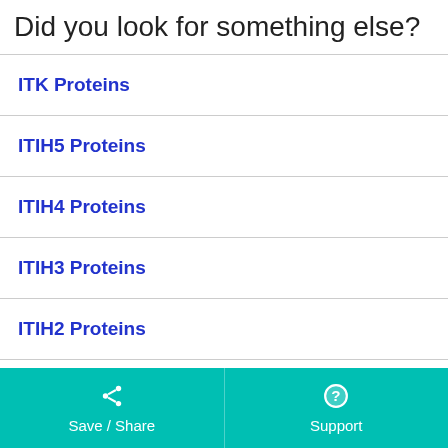Did you look for something else?
ITK Proteins
ITIH5 Proteins
ITIH4 Proteins
ITIH3 Proteins
ITIH2 Proteins
ITIH1 Proteins
ITGBL1 Proteins
Save / Share   Support